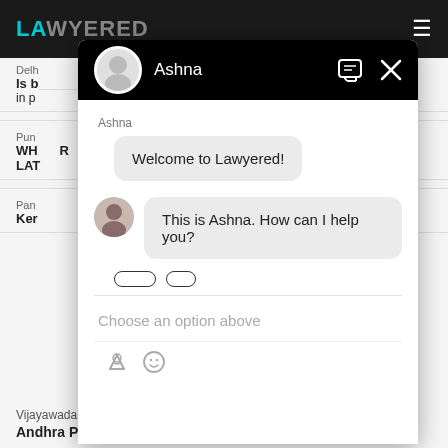[Figure (screenshot): Lawyered website header with dark background and teal/grey logo text]
[Figure (screenshot): Chat widget overlay showing Ashna bot with welcome message and help prompt on Lawyered legal website]
Vijayawada,  07 Feb, 2022,  (7 months ago)
Andhra Pradesh